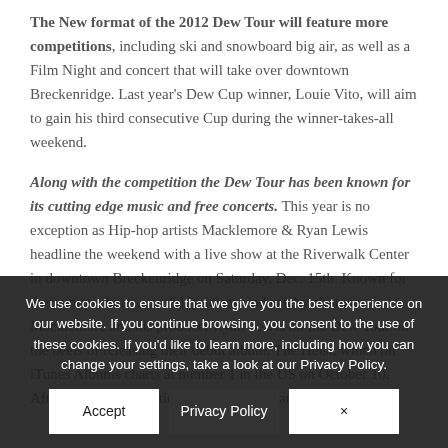The New format of the 2012 Dew Tour will feature more competitions, including ski and snowboard big air, as well as a Film Night and concert that will take over downtown Breckenridge. Last year's Dew Cup winner, Louie Vito, will aim to gain his third consecutive Cup during the winner-takes-all weekend.
Along with the competition the Dew Tour has been known for its cutting edge music and free concerts. This year is no exception as Hip-hop artists Macklemore & Ryan Lewis headline the weekend with a live show at the Riverwalk Center in downtown Breckenridge on Saturday, Dec. 15th. Known for their unique beats, candid lyricism, and catchy choruses, Macklemore and his producer Ryan Lewis hit the Dew Tour on the heels of releasing their debut album, The Heist, which hit iTunes Albums charts at number 1 in the US on October 10. After two sold-out national tours in 2011 and a combined
We use cookies to ensure that we give you the best experience on our website. If you continue browsing, you consent to the use of these cookies. If you'd like to learn more, including how you can change your settings, take a look at our Privacy Policy.